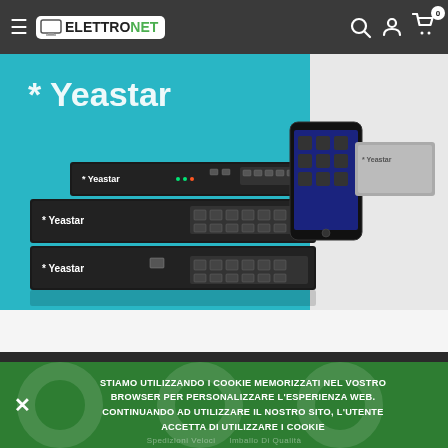ElettroNet — navigation bar with hamburger menu, logo, search, account, and cart icons
[Figure (photo): Yeastar branded product photo: multiple rack-mount network/VoIP switch devices and a smartphone displayed against a cyan/teal background with the Yeastar logo.]
STIAMO UTILIZZANDO I COOKIE MEMORIZZATI NEL VOSTRO BROWSER PER PERSONALIZZARE L'ESPERIENZA WEB. CONTINUANDO AD UTILIZZARE IL NOSTRO SITO, L'UTENTE ACCETTA DI UTILIZZARE I COOKIE
Spedizioni Veloci  |  Imballo Di Qualità